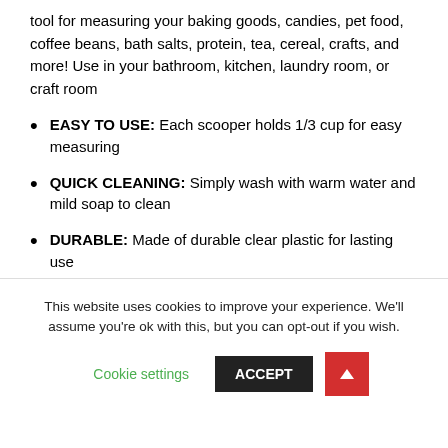tool for measuring your baking goods, candies, pet food, coffee beans, bath salts, protein, tea, cereal, crafts, and more! Use in your bathroom, kitchen, laundry room, or craft room
EASY TO USE: Each scooper holds 1/3 cup for easy measuring
QUICK CLEANING: Simply wash with warm water and mild soap to clean
DURABLE: Made of durable clear plastic for lasting use
This website uses cookies to improve your experience. We'll assume you're ok with this, but you can opt-out if you wish.